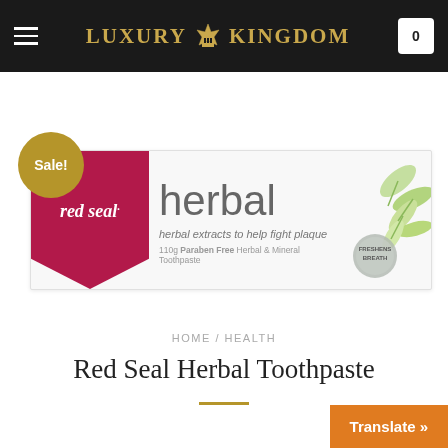LUXURY KINGDOM
[Figure (photo): Red Seal Herbal toothpaste product box. Shows 'red seal.' brand name in white italic text on a dark red/magenta background with pointed bottom flap. Main text reads 'herbal' in large grey font, subtitle 'herbal extracts to help fight plaque', small text '110g Paraben Free Herbal & Mineral Toothpaste'. Green leaf illustrations on the right side with a circular badge.]
HOME / HEALTH
Red Seal Herbal Toothpaste